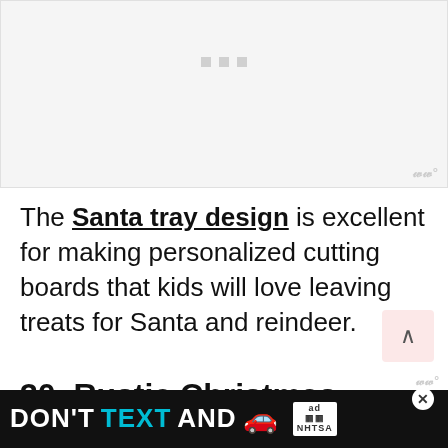[Figure (other): Advertisement placeholder area with three grey dots and watermark logo at bottom right]
The Santa tray design is excellent for making personalized cutting boards that kids will love leaving treats for Santa and reindeer.
30. Rustic Christmas Ornaments – Best Cricut
[Figure (other): Bottom banner advertisement: DON'T TEXT AND [car emoji] with NHTSA logo and ad badge. Close button X visible.]